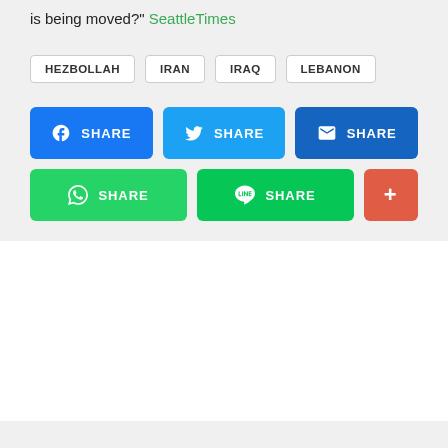is being moved?" SeattleTimes
HEZBOLLAH
IRAN
IRAQ
LEBANON
[Figure (screenshot): Social share buttons: Facebook SHARE (blue), Twitter SHARE (light blue), Email SHARE (dark blue), WhatsApp SHARE (green), LINE SHARE (green), plus button (coral/red)]